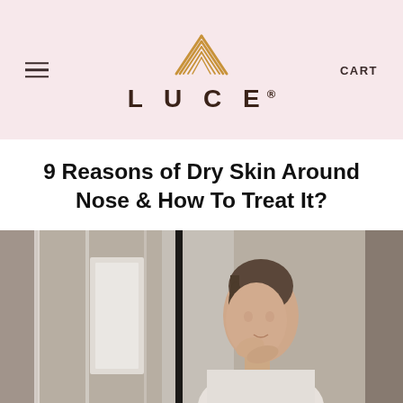LUCE® | CART
9 Reasons of Dry Skin Around Nose & How To Treat It?
[Figure (photo): Woman in white robe looking in a bathroom mirror, touching her face and examining her skin — shown from two angles in a split mirror effect. Soft, bright indoor lighting.]